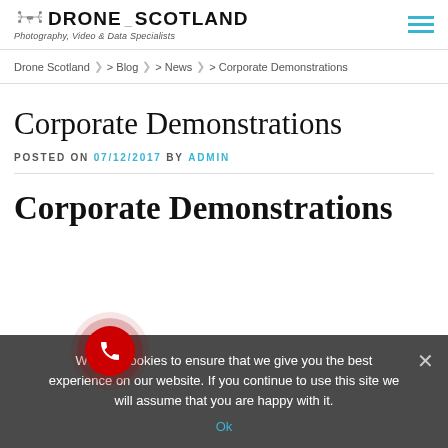DRONE SCOTLAND — Photography, Video & Data Specialists
Drone Scotland > Blog > News > Corporate Demonstrations
Corporate Demonstrations
POSTED ON 07/12/2017 BY ADMIN
Corporate Demonstrations
We use cookies to ensure that we give you the best experience on our website. If you continue to use this site we will assume that you are happy with it. Ok